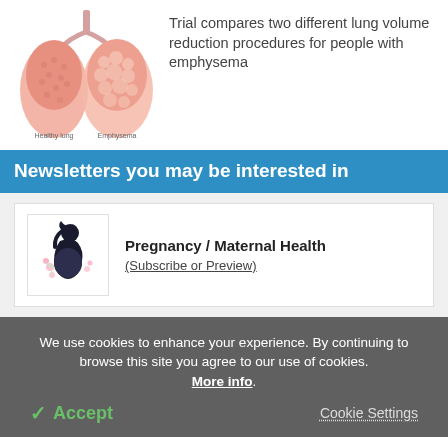[Figure (illustration): Two lungs illustration: a healthy lung on the left and an emphysema lung on the right, with labels 'Healthy lung' and 'Emphysema' beneath each.]
Trial compares two different lung volume reduction procedures for people with emphysema
Newsletters you may be interested in
[Figure (illustration): Illustration of a pregnant woman silhouette with floral decoration, representing Pregnancy / Maternal Health newsletter.]
Pregnancy / Maternal Health
(Subscribe or Preview)
We use cookies to enhance your experience. By continuing to browse this site you agree to our use of cookies. More info.
✓ Accept
Cookie Settings